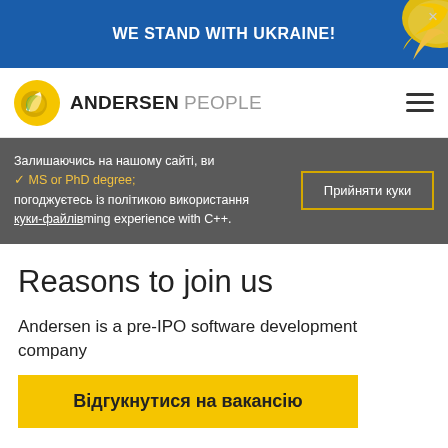WE STAND WITH UKRAINE!
[Figure (logo): Andersen People logo with yellow sun/leaf icon and hamburger menu]
Залишаючись на нашому сайті, ви погоджуєтесь із політикою використання куки-файлів
✓ MS or PhD degree;
...ming experience with C++.
Прийняти куки
Reasons to join us
Andersen is a pre-IPO software development company
Відгукнутися на вакансію